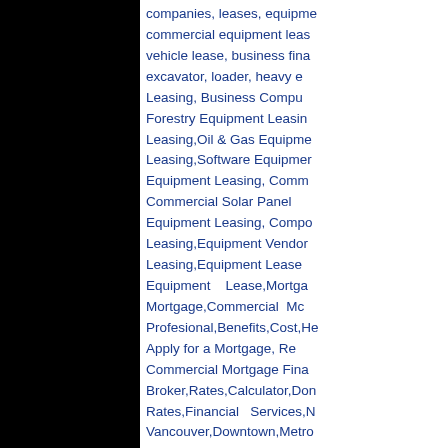companies, leases, equipment commercial equipment lease, vehicle lease, business finance, excavator, loader, heavy equipment Leasing, Business Computer Leasing, Forestry Equipment Leasing, Leasing,Oil & Gas Equipment Leasing,Software Equipment Leasing, Equipment Leasing, Commercial Commercial Solar Panel Equipment Leasing, Computer Leasing,Equipment Vendor Leasing,Equipment Lease Equipment Lease,Mortgage, Mortgage,Commercial Mortgage, Profesional,Benefits,Cost,How to Apply for a Mortgage, Rates, Commercial Mortgage Financing, Broker,Rates,Calculator,Down Rates,Financial Services,Metro Vancouver,Downtown,Metro Mortgage Calculators, Refinancing, Brokers Bad Credit BC, mortgages, mortgages canada,lowest mortgages
Construction Equipment Leasing, leasing, equipment leasing